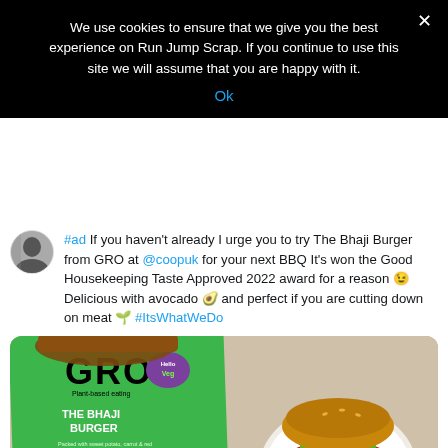We use cookies to ensure that we give you the best experience on Run Jump Scrap. If you continue to use this site we will assume that you are happy with it.
Ok
#ad If you haven't already I urge you to try The Bhaji Burger from GRO at @coopuk for your next BBQ It's won the Good Housekeeping Taste Approved 2022 award for a reason 😉 Delicious with avocado 🥑 and perfect if you are cutting down on meat 🌿 #ItsWhatWeDo
[Figure (photo): GRO Plant-based eating The Bhaji Burger vegan product packaging (green box) on the left, and a assembled bhaji burger on a white plate with avocado, tomato and greens on the right. Background is a floral tablecloth.]